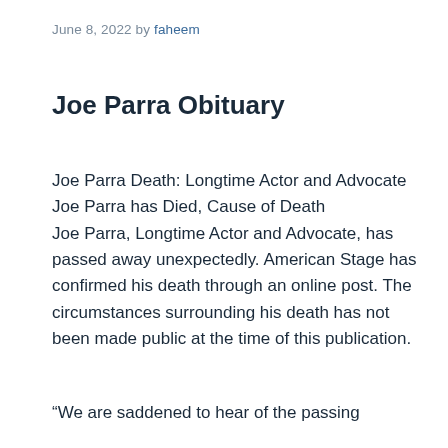June 8, 2022 by faheem
Joe Parra Obituary
Joe Parra Death: Longtime Actor and Advocate Joe Parra has Died, Cause of Death
Joe Parra, Longtime Actor and Advocate, has passed away unexpectedly. American Stage has confirmed his death through an online post. The circumstances surrounding his death has not been made public at the time of this publication.
“We are saddened to hear of the passing